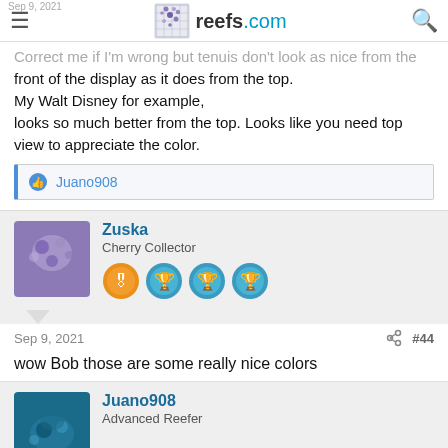reefs.com
Correct me if I'm wrong but tenuis don't look as nice from the front of the display as it does from the top.
My Walt Disney for example,
looks so much better from the top. Looks like you need top view to appreciate the color.
Juano908
Zuska
Cherry Collector
Sep 9, 2021  #44
wow Bob those are some really nice colors
Juano908
Advanced Reefer